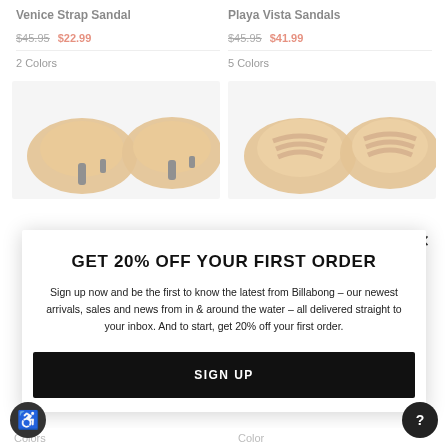Venice Strap Sandal
$45.95  $22.99
2 Colors
Playa Vista Sandals
$45.95  $41.99
5 Colors
[Figure (photo): Venice Strap Sandal product image - top view of tan/brown sandals on grey background]
[Figure (photo): Playa Vista Sandals product image - top view of tan sandals on grey background]
GET 20% OFF YOUR FIRST ORDER
Sign up now and be the first to know the latest from Billabong – our newest arrivals, sales and news from in & around the water – all delivered straight to your inbox. And to start, get 20% off your first order.
SIGN UP
Colors
Color